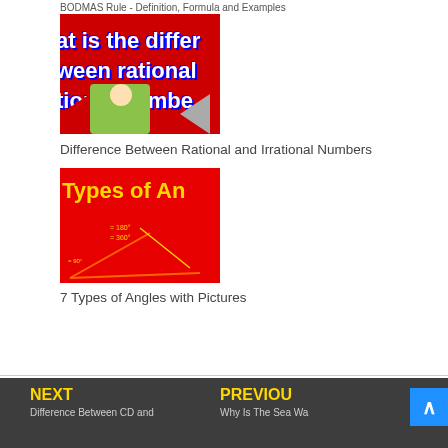BODMAS Rule - Definition, Formula and Examples
[Figure (photo): Thumbnail image on red background with white text showing 'at is the differ', 'ween rational', 'tional numbe' and cartoon boy, representing Difference Between Rational and Irrational Numbers]
Difference Between Rational and Irrational Numbers
[Figure (photo): Thumbnail image with red background and yellow text 'Types of An' with angle diagram lines, representing 7 Types of Angles with Pictures]
7 Types of Angles with Pictures
NEXT | Difference Between CD and | PREVIOUS | Why Is The Sea Wa